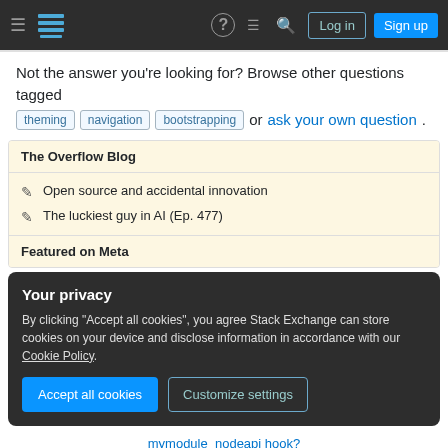[Figure (screenshot): Stack Exchange navigation bar with hamburger menu, logo, help icon, chat icon, search icon, Log in button, and Sign up button on dark background]
Not the answer you're looking for? Browse other questions tagged theming navigation bootstrapping or ask your own question.
The Overflow Blog
Open source and accidental innovation
The luckiest guy in AI (Ep. 477)
Featured on Meta
Your privacy
By clicking "Accept all cookies", you agree Stack Exchange can store cookies on your device and disclose information in accordance with our Cookie Policy.
mymodule_nodeapi hook?